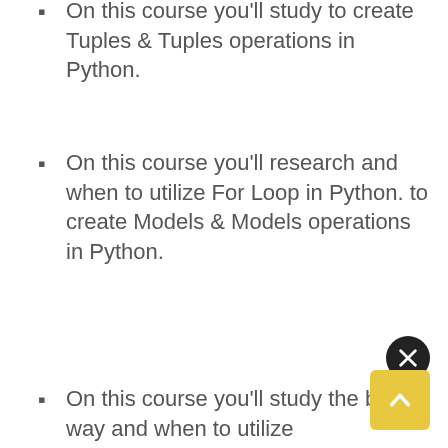On this course you'll study to create Tuples & Tuples operations in Python.
On this course you'll research and when to utilize For Loop in Python. to create Models & Models operations in Python.
On this course you'll study the best way and when to utilize